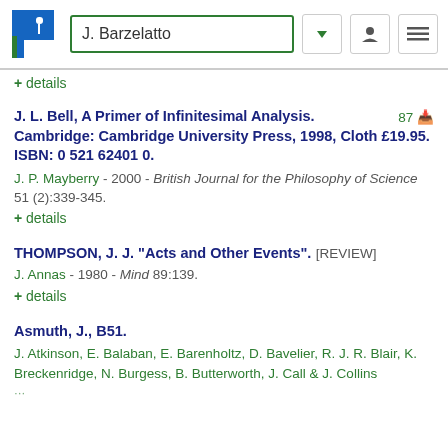[Figure (screenshot): Navigation header with Philpapers logo, search box showing 'J. Barzelatto', dropdown arrow, user icon, and menu icon]
+ details
J. L. Bell, A Primer of Infinitesimal Analysis. Cambridge: Cambridge University Press, 1998, Cloth £19.95. ISBN: 0 521 62401 0. 87
J. P. Mayberry - 2000 - British Journal for the Philosophy of Science 51 (2):339-345.
+ details
THOMPSON, J. J. "Acts and Other Events". [REVIEW]
J. Annas - 1980 - Mind 89:139.
+ details
Asmuth, J., B51.
J. Atkinson, E. Balaban, E. Barenholtz, D. Bavelier, R. J. R. Blair, K. Breckenridge, N. Burgess, B. Butterworth, J. Call & J. Collins